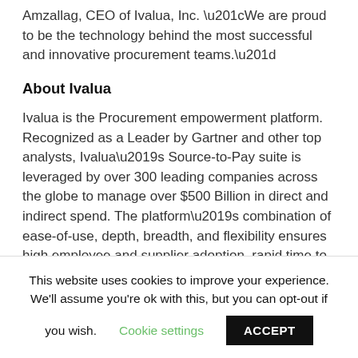Amzallag, CEO of Ivalua, Inc. “We are proud to be the technology behind the most successful and innovative procurement teams.”
About Ivalua
Ivalua is the Procurement empowerment platform. Recognized as a Leader by Gartner and other top analysts, Ivalua’s Source-to-Pay suite is leveraged by over 300 leading companies across the globe to manage over $500 Billion in direct and indirect spend. The platform’s combination of ease-of-use, depth, breadth, and flexibility ensures high employee and supplier adoption, rapid time to value and the
This website uses cookies to improve your experience. We’ll assume you’re ok with this, but you can opt-out if you wish. Cookie settings ACCEPT